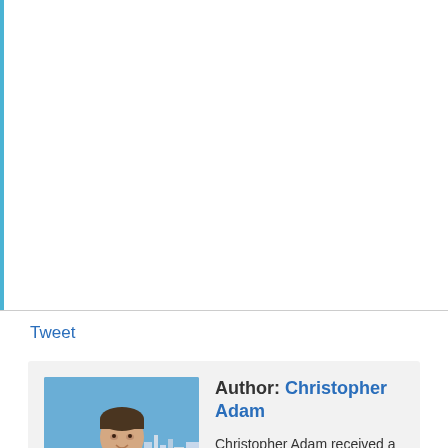[Figure (other): Large white/blank content area with a light blue left border stripe]
Tweet
[Figure (photo): Headshot photo of Christopher Adam, a man in a light blue shirt standing near water with city skyline in background]
Author: Christopher Adam
Christopher Adam received a B.A. in history from Concordia University, an M.A. in East/Central